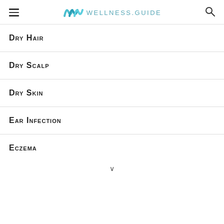Wellness.guide
Dry Hair
Dry Scalp
Dry Skin
Ear Infection
Eczema